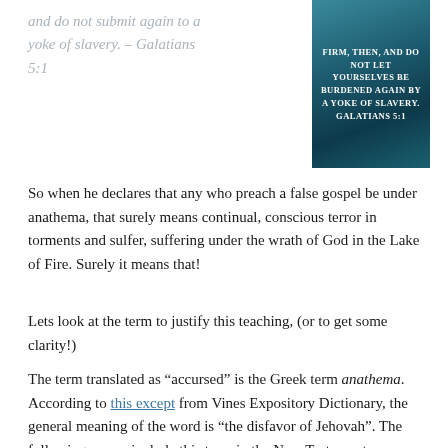and do not submit again to a yoke of slavery. – Galatians 5:1
[Figure (photo): Dark teal/blue background image with bold white uppercase text reading: FIRM, THEN, AND DO NOT LET YOURSELVES BE BURDENED AGAIN BY A YOKE OF SLAVERY. GALATIANS 5:1]
So when he declares that any who preach a false gospel be under anathema, that surely means continual, conscious terror in torments and sulfer, suffering under the wrath of God in the Lake of Fire. Surely it means that!
Lets look at the term to justify this teaching, (or to get some clarity!)
The term translated as “accursed” is the Greek term anathema. According to this except from Vines Expository Dictionary, the general meaning of the word is “the disfavor of Jehovah”. The following verses include this term in the New Testament